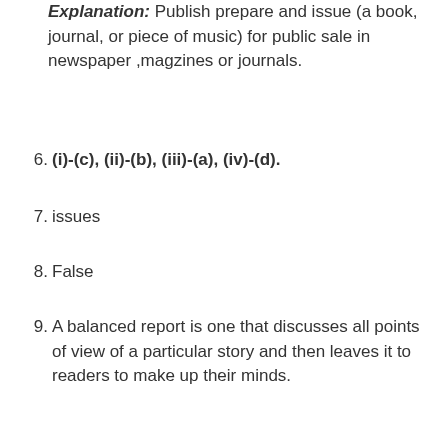Explanation: Publish prepare and issue (a book, journal, or piece of music) for public sale in newspaper ,magzines or journals.
6. (i)-(c), (ii)-(b), (iii)-(a), (iv)-(d).
7. issues
8. False
9. A balanced report is one that discusses all points of view of a particular story and then leaves it to readers to make up their minds.
10. This refers to the powers that the government has to disallow media from publishing or showing certain stories.
11. The term brand refers to the special identification or name that is associated with a product. Building brand is central